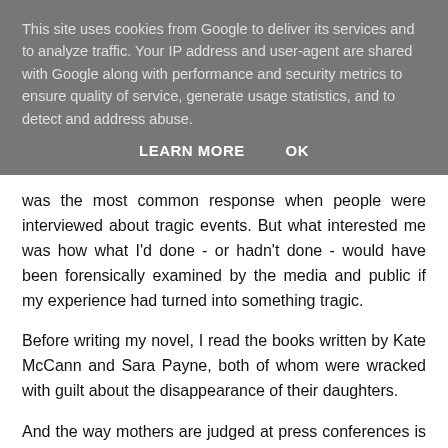This site uses cookies from Google to deliver its services and to analyze traffic. Your IP address and user-agent are shared with Google along with performance and security metrics to ensure quality of service, generate usage statistics, and to detect and address abuse.
LEARN MORE    OK
was the most common response when people were interviewed about tragic events. But what interested me was how what I'd done - or hadn't done - would have been forensically examined by the media and public if my experience had turned into something tragic.
Before writing my novel, I read the books written by Kate McCann and Sara Payne, both of whom were wracked with guilt about the disappearance of their daughters.
And the way mothers are judged at press conferences is a good example. They are 'over-emotional' if they cry and a 'hard-faced cow' if they don't.